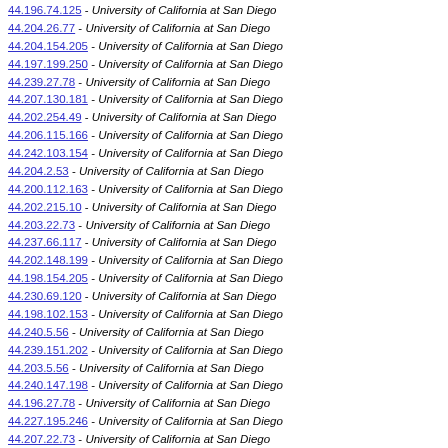44.196.74.125 - University of California at San Diego
44.204.26.77 - University of California at San Diego
44.204.154.205 - University of California at San Diego
44.197.199.250 - University of California at San Diego
44.239.27.78 - University of California at San Diego
44.207.130.181 - University of California at San Diego
44.202.254.49 - University of California at San Diego
44.206.115.166 - University of California at San Diego
44.242.103.154 - University of California at San Diego
44.204.2.53 - University of California at San Diego
44.200.112.163 - University of California at San Diego
44.202.215.10 - University of California at San Diego
44.203.22.73 - University of California at San Diego
44.237.66.117 - University of California at San Diego
44.202.148.199 - University of California at San Diego
44.198.154.205 - University of California at San Diego
44.230.69.120 - University of California at San Diego
44.198.102.153 - University of California at San Diego
44.240.5.56 - University of California at San Diego
44.239.151.202 - University of California at San Diego
44.203.5.56 - University of California at San Diego
44.240.147.198 - University of California at San Diego
44.196.27.78 - University of California at San Diego
44.227.195.246 - University of California at San Diego
44.207.22.73 - University of California at San Diego
44.207.15.66 - University of California at San Diego
44.200.62.113 - University of California at San Diego
44.239.179.230 - University of California at San Diego
44.237.246.41 - University of California at San Diego
44.206.209.4 - University of California at San Diego